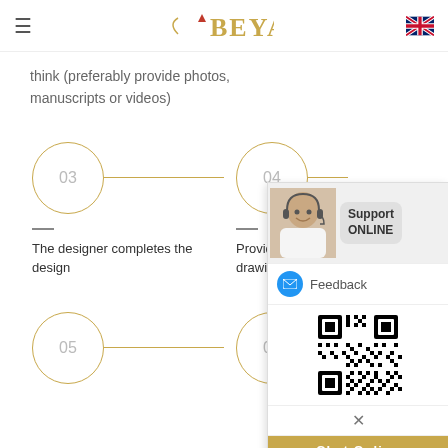BEYALY
think (preferably provide photos, manuscripts or videos)
[Figure (infographic): Process step circles labeled 03, 04, 05, 06 connected by horizontal lines, with labels: The designer completes the design; Provide 3D drawings]
[Figure (infographic): Support ONLINE panel showing a woman with headset, Feedback button, QR code, close button, and Chat Online button]